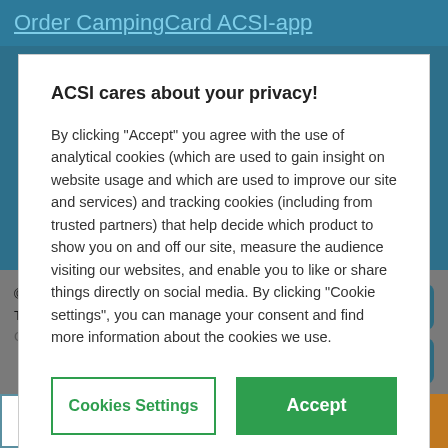Order CampingCard ACSI-app
ACSI cares about your privacy!
By clicking "Accept" you agree with the use of analytical cookies (which are used to gain insight on website usage and which are used to improve our site and services) and tracking cookies (including from trusted partners) that help decide which product to show you on and off our site, measure the audience visiting our websites, and enable you to like or share things directly on social media. By clicking "Cookie settings", you can manage your consent and find more information about the cookies we use.
Cookies Settings
Accept
© 2022 ACSI Holding BV | Privacy Statement , Cookies
This site is protected by reCAPTCHA and Google:
Google Privacy Statement · Google general
Campsite website
Availability